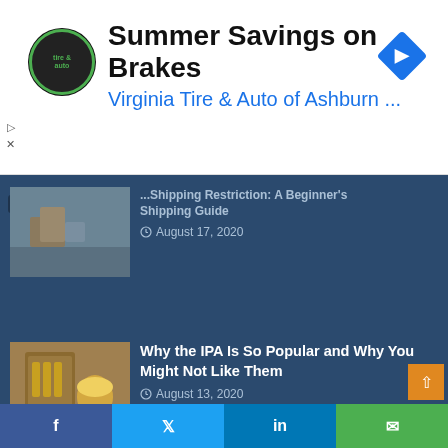[Figure (screenshot): Advertisement banner for Virginia Tire & Auto of Ashburn featuring logo, headline 'Summer Savings on Brakes', subheadline 'Virginia Tire & Auto of Ashburn ...', and a blue navigation arrow icon]
Shipping Guide
August 17, 2020
Why the IPA Is So Popular and Why You Might Not Like Them
August 13, 2020
© Copyright Microbrewery.com 2022, All Rights Reserved.
[Figure (other): Social share bar with Facebook, Twitter, LinkedIn, and Email buttons]